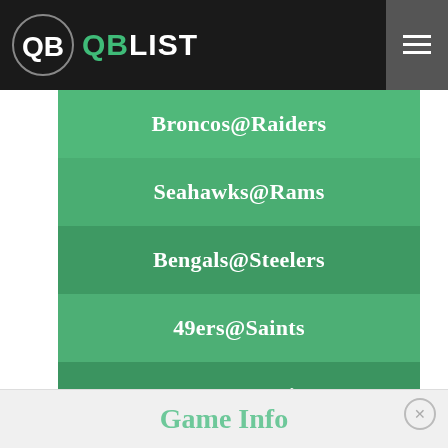QB LIST
Broncos@Raiders
Seahawks@Rams
Bengals@Steelers
49ers@Saints
Ravens@Patriots
Vikings@Bears
Chargers@Dolphins
Game Info